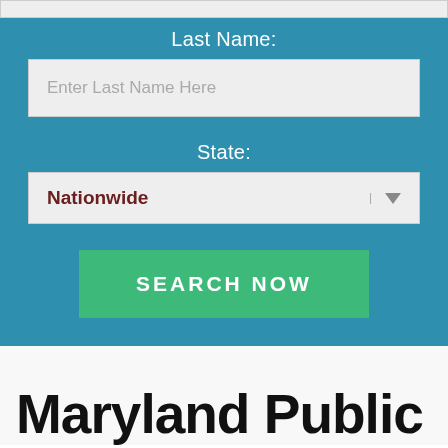Last Name:
Enter Last Name Here
State:
Nationwide
SEARCH NOW
Maryland Public